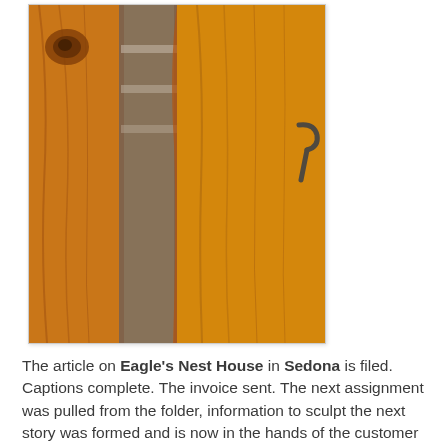[Figure (photo): Close-up photograph of warm golden-brown wooden panels or slabs with natural grain, knots, and curved edges, shown side by side. A metal handle or hook is visible on the right side.]
The article on Eagle's Nest House in Sedona is filed. Captions complete. The invoice sent. The next assignment was pulled from the folder, information to sculpt the next story was formed and is now in the hands of the customer for approval. Before I check to see what is next in the queue , I